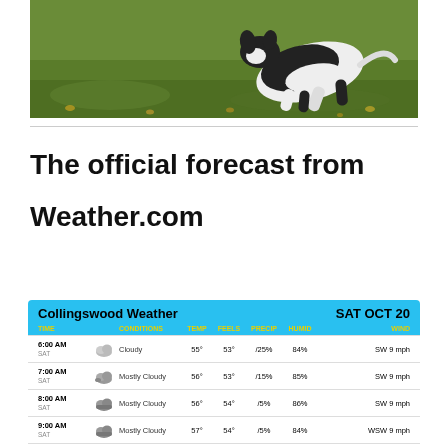[Figure (photo): Photo of a black and white dog rolling on green grass with fallen leaves]
The official forecast from

Weather.com
| TIME | CONDITIONS | TEMP | FEELS | PRECIP | HUMID | WIND |
| --- | --- | --- | --- | --- | --- | --- |
| 6:00 AM SAT | Cloudy | 55° | 53° | / 25% | 84% | SW 9 mph |
| 7:00 AM SAT | Mostly Cloudy | 56° | 53° | / 15% | 85% | SW 9 mph |
| 8:00 AM SAT | Mostly Cloudy | 56° | 54° | / 5% | 86% | SW 9 mph |
| 9:00 AM SAT | Mostly Cloudy | 57° | 54° | / 5% | 84% | WSW 9 mph |
| 10:00 AM ... | Mostly Cloudy | ... | ... | / ... | ...% | WSW ... |